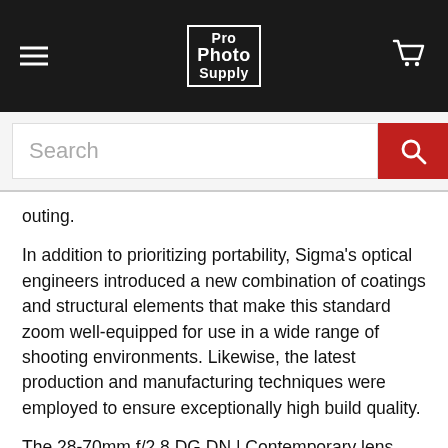Pro Photo Supply
outing.
In addition to prioritizing portability, Sigma's optical engineers introduced a new combination of coatings and structural elements that make this standard zoom well-equipped for use in a wide range of shooting environments. Likewise, the latest production and manufacturing techniques were employed to ensure exceptionally high build quality.
The 28-70mm f/2.8 DG DN | Contemporary lens introduces another fast, high-performance, large-aperture zoom lens to Sigma's mirrorless line-up, offering a more compact alternative to the existing 24-